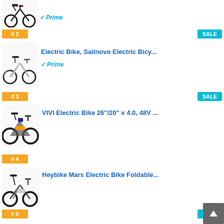[Figure (photo): Electric bike product image - item 1 (partial, top of page)]
Prime
# 2
SALE
[Figure (photo): Electric bike - Sailnovo folding electric bicycle, white]
Electric Bike, Sailnovo Electric Bicy...
Prime
# 3
SALE
[Figure (photo): VIVI fat tire electric bike, dark color]
VIVI Electric Bike 26"/20" x 4.0, 48V ...
# 4
[Figure (photo): Heybike Mars folding electric bike]
Heybike Mars Electric Bike Foldable...
# 5
SALE